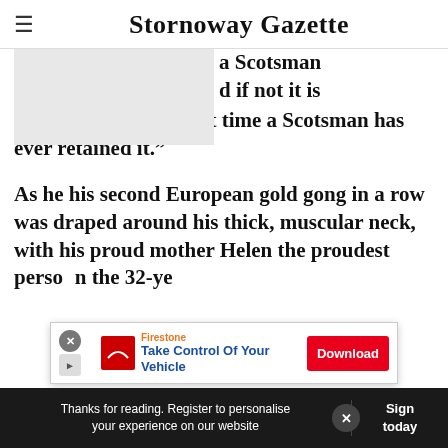Stornoway Gazette
a Scotsman
d if not it is
without doubt the first time a Scotsman has ever retained it.”
As he his second European gold gong in a row was draped around his thick, muscular neck, with his proud mother Helen the proudest person… the 32-ye…
Thanks for reading. Register to personalise your experience on our website